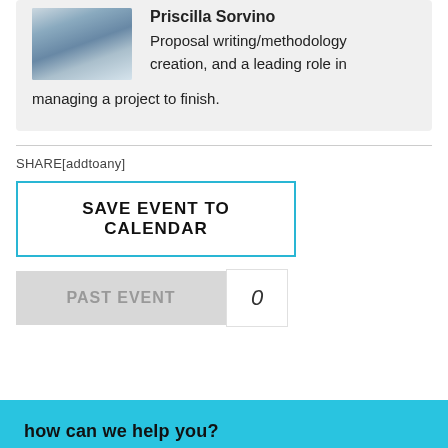[Figure (photo): Headshot photo of Priscilla Sorvino - landscape image with foggy mountain background]
Priscilla Sorvino
Proposal writing/methodology creation, and a leading role in managing a project to finish.
SHARE[addtoany]
SAVE EVENT TO CALENDAR
PAST EVENT
0
how can we help you?